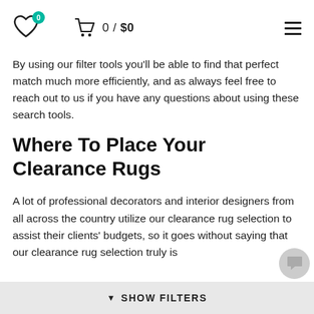Heart icon with badge 0, Cart icon 0/$0, Hamburger menu
By using our filter tools you'll be able to find that perfect match much more efficiently, and as always feel free to reach out to us if you have any questions about using these search tools.
Where To Place Your Clearance Rugs
A lot of professional decorators and interior designers from all across the country utilize our clearance rug selection to assist their clients' budgets, so it goes without saying that our clearance rug selection truly is
▼ SHOW FILTERS